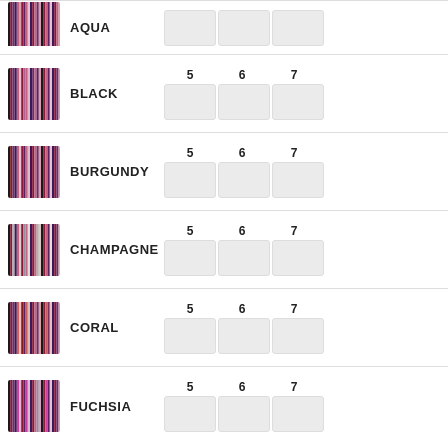| Swatch | Color | 5 | 6 | 7 |
| --- | --- | --- | --- | --- |
| [swatch] | AQUA |  |  |  |
| [swatch] | BLACK |  |  |  |
| [swatch] | BURGUNDY |  |  |  |
| [swatch] | CHAMPAGNE |  |  |  |
| [swatch] | CORAL |  |  |  |
| [swatch] | FUCHSIA |  |  |  |